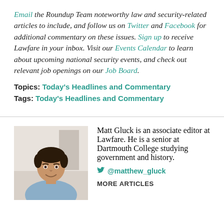Email the Roundup Team noteworthy law and security-related articles to include, and follow us on Twitter and Facebook for additional commentary on these issues. Sign up to receive Lawfare in your inbox. Visit our Events Calendar to learn about upcoming national security events, and check out relevant job openings on our Job Board.
Topics: Today's Headlines and Commentary
Tags: Today's Headlines and Commentary
[Figure (photo): Portrait photo of Matt Gluck, a young man with dark hair wearing a light blue shirt, smiling]
Matt Gluck is an associate editor at Lawfare. He is a senior at Dartmouth College studying government and history.
@matthew_gluck
MORE ARTICLES